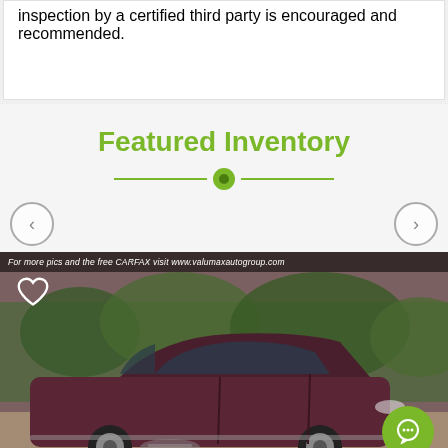inspection by a certified third party is encouraged and recommended.
Featured Inventory
[Figure (photo): Car dealership photo of a dark maroon/burgundy sedan (Chrysler) parked outdoors with greenery in background. Banner text reads: For more pics and the free CARFAX visit www.valumaxautogroup.com. Heart icon overlay top-left. Green chat button bottom-right.]